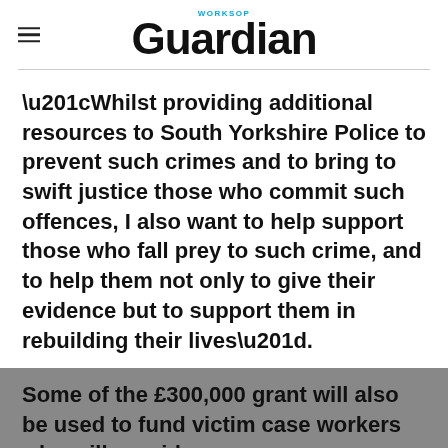Worksop Guardian
“Whilst providing additional resources to South Yorkshire Police to prevent such crimes and to bring to swift justice those who commit such offences, I also want to help support those who fall prey to such crime, and to help them not only to give their evidence but to support them in rebuilding their lives”.
Advertisement
Some of the £300,000 grant will also be used to fund victim case workers who will provide